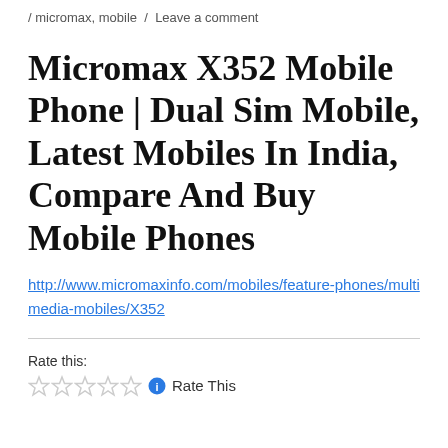/ micromax, mobile / Leave a comment
Micromax X352 Mobile Phone | Dual Sim Mobile, Latest Mobiles In India, Compare And Buy Mobile Phones
http://www.micromaxinfo.com/mobiles/feature-phones/multimedia-mobiles/X352
Rate this:
☆ ☆ ☆ ☆ ☆ ⓘ Rate This